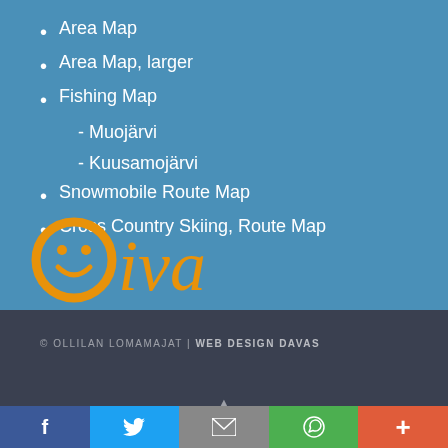Area Map
Area Map, larger
Fishing Map
- Muojärvi
- Kuusamojärvi
Snowmobile Route Map
Cross Country Skiing, Route Map
[Figure (logo): Oiva logo with smiley face O in orange italic script]
© OLLILAN LOMAMAJAT | WEB DESIGN DAVAS
[Figure (other): Social sharing bar with Facebook, Twitter, Email, WhatsApp, and more buttons]